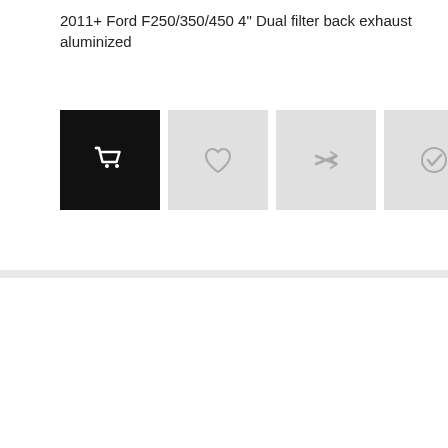2011+ Ford F250/350/450 4" Dual filter back exhaust aluminized
[Figure (screenshot): Four action buttons: black shopping cart button, light gray heart button, light gray shuffle/compare button, light gray checkmark button]
[Figure (photo): Product photo of an aluminized exhaust pipe system with MBRP watermark, showing a curved single exhaust pipe with mounting brackets]